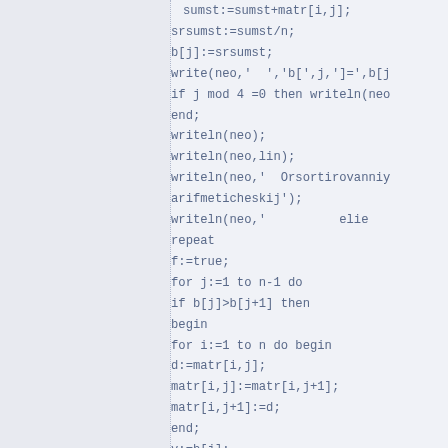[Figure (screenshot): Code snippet in Pascal/pseudocode showing sorting logic with sumst, srsumst, b[j], writeln, repeat loop, bubble sort with matr[i,j] swaps]